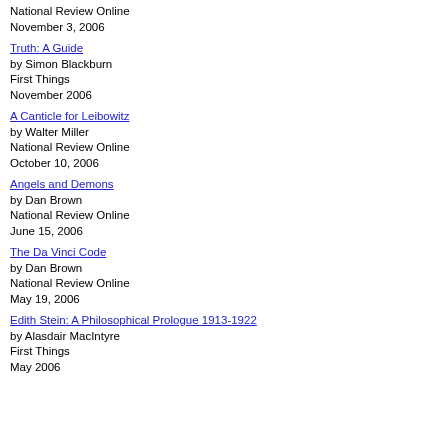National Review Online
November 3, 2006
Truth: A Guide
by Simon Blackburn
First Things
November 2006
A Canticle for Leibowitz
by Walter Miller
National Review Online
October 10, 2006
Angels and Demons
by Dan Brown
National Review Online
June 15, 2006
The Da Vinci Code
by Dan Brown
National Review Online
May 19, 2006
Edith Stein: A Philosophical Prologue 1913-1922
by Alasdair MacIntyre
First Things
May 2006